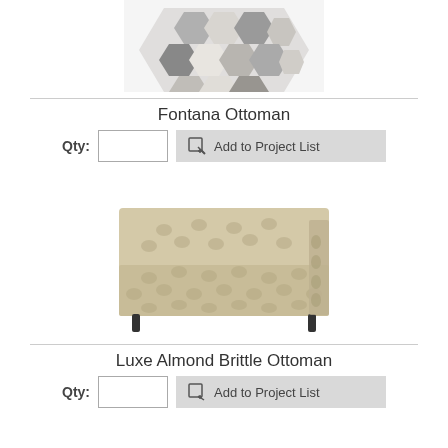[Figure (photo): Partial top view of Fontana Ottoman with hexagonal patchwork cowhide pattern in grey and white tones]
Fontana Ottoman
Qty:  [input]  Add to Project List
[Figure (photo): Luxe Almond Brittle Ottoman - rectangular tufted upholstered ottoman in beige/almond velvet fabric with button tufting on all sides and dark legs]
Luxe Almond Brittle Ottoman
Qty:  [input]  Add to Project List